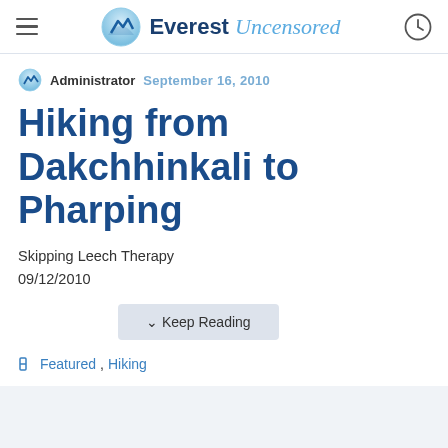Everest Uncensored
Administrator September 16, 2010
Hiking from Dakchhinkali to Pharping
Skipping Leech Therapy
09/12/2010
Keep Reading
Featured, Hiking